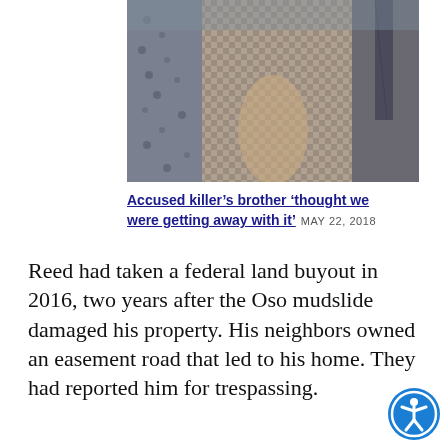[Figure (photo): Cropped photo of people, showing a person in a plaid/checkered shirt between others in dark clothing]
Accused killer’s brother ‘thought we were getting away with it’  MAY 22, 2018
Reed had taken a federal land buyout in 2016, two years after the Oso mudslide damaged his property. His neighbors owned an easement road that led to his home. They had reported him for trespassing.
ADVERTISEMENT
Over the past two days, experts for the prosecution have described how detectives used cell phone data to track the movements of the couple, along with Reed and his brother, Tony Reed, who admitted